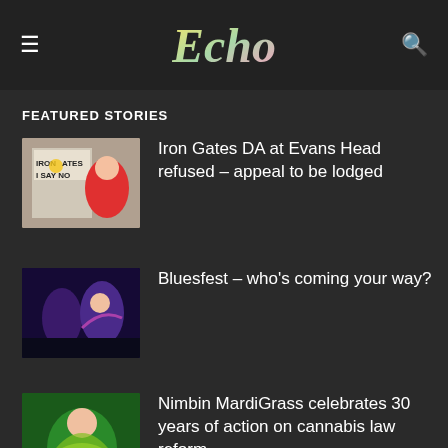Echo
FEATURED STORIES
[Figure (photo): Protest sign reading 'IRON GATES I SAY NO' with a woman in a red shirt]
Iron Gates DA at Evans Head refused – appeal to be lodged
[Figure (photo): Concert performers on stage with blue/purple lighting]
Bluesfest – who's coming your way?
[Figure (photo): Person in green costume at MardiGrass event]
Nimbin MardiGrass celebrates 30 years of action on cannabis law reform